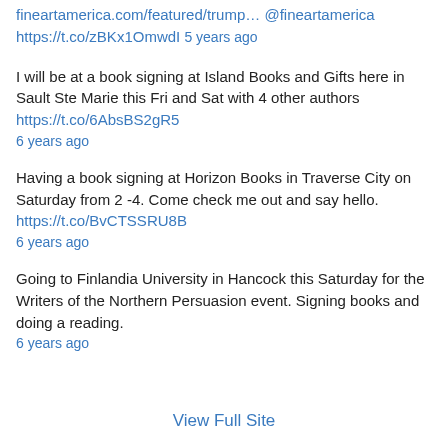fineartamerica.com/featured/trump… @fineartamerica https://t.co/zBKx1OmwdI 5 years ago
I will be at a book signing at Island Books and Gifts here in Sault Ste Marie this Fri and Sat with 4 other authors https://t.co/6AbsBS2gR5 6 years ago
Having a book signing at Horizon Books in Traverse City on Saturday from 2 -4. Come check me out and say hello. https://t.co/BvCTSSRU8B 6 years ago
Going to Finlandia University in Hancock this Saturday for the Writers of the Northern Persuasion event. Signing books and doing a reading. 6 years ago
View Full Site